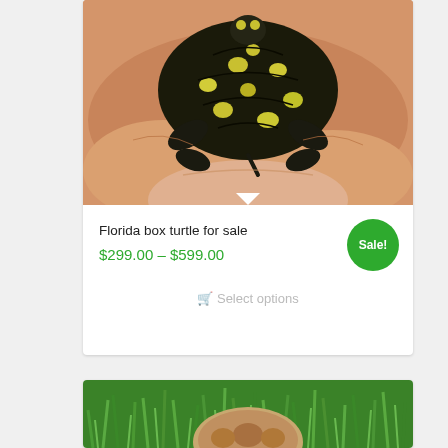[Figure (photo): Close-up photo of a small Florida box turtle with dark shell with yellow/green spots, being held in a human hand]
Florida box turtle for sale
$299.00 – $599.00
Sale!
Select options
[Figure (photo): Photo of a turtle on green grass, partially visible at bottom of page]